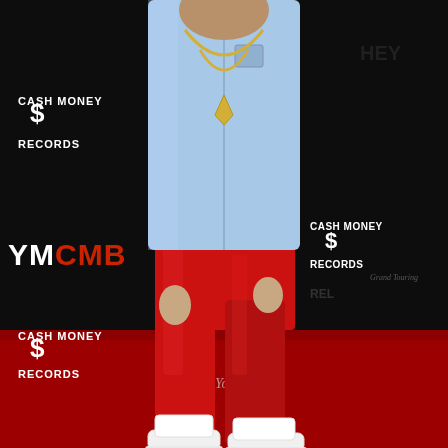[Figure (photo): A person standing on a red carpet in front of a black step-and-repeat backdrop featuring Cash Money Records and Young Money (YMCMB) logos. The individual is wearing a light blue denim shirt, red leather baggy pants, and white high-top sneakers. A gold chain necklace is visible. The backdrop repeats 'CASH MONEY $ RECORDS' and 'YMCMB' and 'Young Money' and 'Grand Touring' logos.]